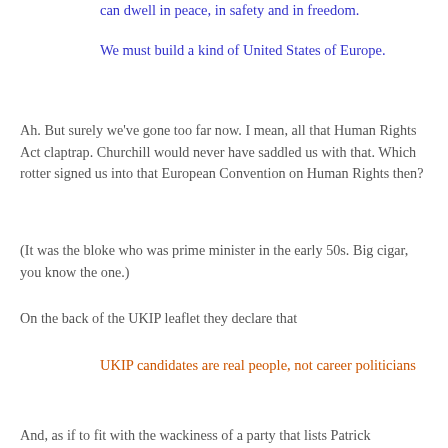can dwell in peace, in safety and in freedom.
We must build a kind of United States of Europe.
Ah. But surely we've gone too far now. I mean, all that Human Rights Act claptrap. Churchill would never have saddled us with that. Which rotter signed us into that European Convention on Human Rights then?
(It was the bloke who was prime minister in the early 50s. Big cigar, you know the one.)
On the back of the UKIP leaflet they declare that
UKIP candidates are real people, not career politicians
And, as if to fit with the wackiness of a party that lists Patrick